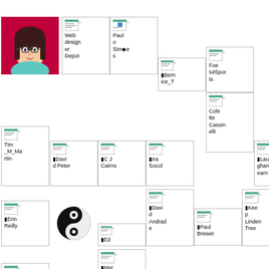[Figure (screenshot): Grid of user/page icon thumbnails with labels. Includes a profile avatar photo (illustrated woman with dark hair), a yin-yang symbol, and multiple document-style icons with text labels: WebdesignerDepot, Paulo Simoes, Bernice_T, Foes4Sports, Kathryn, AnnCarnevale, JamesMann, Tim_M_Martin, David Peter, C J Cairns, Ira Socol, Colette Cassinelli, Laughandlearn, digitalchalk, Myles Webb, Erin Reilly, Ed, David Andrade, Paul Brewer, Keep Linden Tree, Raman Job, Kyle Webb, Landmark, Marcela Summerville, James Taylor, Earth's Birthday, SimpleK12, Thank You, Mr. Rogers, Barbara McLaughlin]